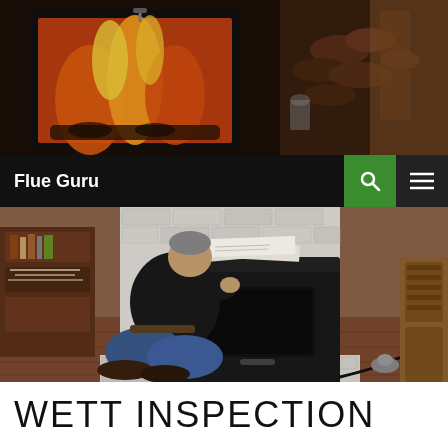[Figure (photo): Banner photo showing a burning fireplace insert with orange flames on the left, and firewood logs with kitchen/living area on the right, dark warm tones.]
Flue Guru
[Figure (photo): A technician in a black shirt and blue jeans kneeling in front of a wood pellet stove set inside a white brick fireplace, reviewing documents/manual on top of the stove. Inspection lamp and cables on the hearth. Bookshelves on the left, wooden chair on the right.]
WETT INSPECTION